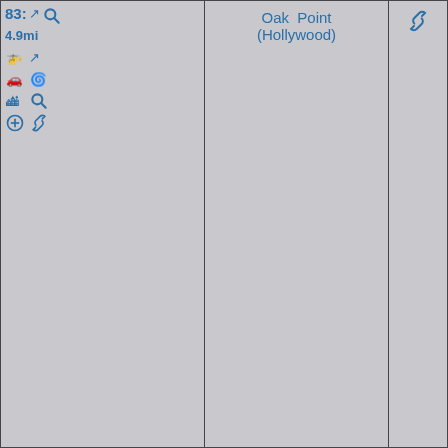|  | Oak Point (Hollywood) |  | Categories |  |
| --- | --- | --- | --- | --- |
| 83: ↗ 🔍 4.9mi
🚁↗ 🚗 🌀 🏙🔍 ⊕ 🔗 | Oak Point (Hollywood) | 🔗 | Neighborhoods in Hollywood, Florida, Former census-designated places in Broward County, Florida, Former census-designated places in Florida, Hidden categories:, Coordinates on Wikidata, |  |